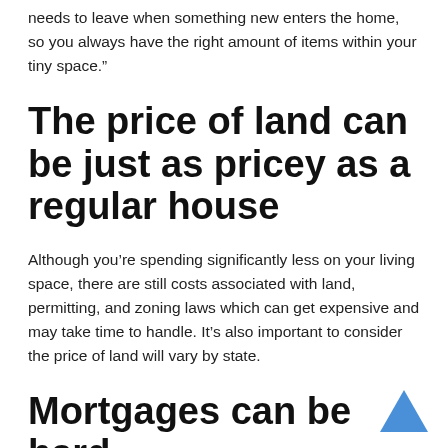needs to leave when something new enters the home, so you always have the right amount of items within your tiny space.”
The price of land can be just as pricey as a regular house
Although you’re spending significantly less on your living space, there are still costs associated with land, permitting, and zoning laws which can get expensive and may take time to handle. It’s also important to consider the price of land will vary by state.
Mortgages can be hard